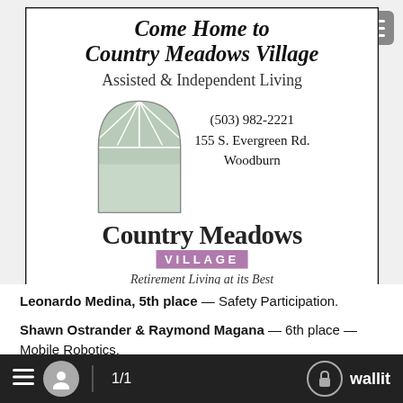[Figure (advertisement): Country Meadows Village advertisement showing arch/window logo, contact info (503) 982-2221, 155 S. Evergreen Rd. Woodburn, with 'Country Meadows VILLAGE' branding and tagline 'Retirement Living at its Best']
Leonardo Medina, 5th place — Safety Participation.
Shawn Ostrander & Raymond Magana — 6th place — Mobile Robotics.
Also competing for North Marion's program were Le Medina & David Snow, Mobile Robotics; Joshua Williamson, Carpentry; and
≡  [user icon]  1/1  [lock icon]  wallit